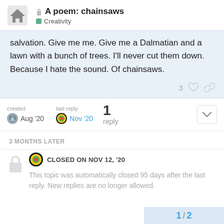A poem: chainsaws | Creativity
salvation. Give me me. Give me a Dalmatian and a lawn with a bunch of trees. I'll never cut them down. Because I hate the sound. Of chainsaws.
3 likes, reply link
created Aug '20 | last reply Nov '20 | 1 reply
3 MONTHS LATER
CLOSED ON NOV 12, '20
This topic was automatically closed 95 days after the last reply. New replies are no longer allowed.
1 / 2